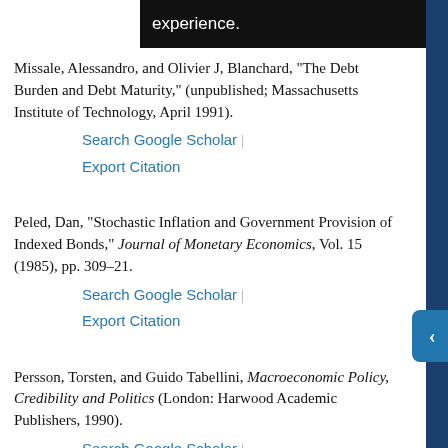experience.
Missale, Alessandro, and Olivier J. Blanchard, "The Debt Burden and Debt Maturity," (unpublished; Massachusetts Institute of Technology, April 1991).
Search Google Scholar | Export Citation
Peled, Dan, "Stochastic Inflation and Government Provision of Indexed Bonds," Journal of Monetary Economics, Vol. 15 (1985), pp. 309–21.
Search Google Scholar | Export Citation
Persson, Torsten, and Guido Tabellini, Macroeconomic Policy, Credibility and Politics (London: Harwood Academic Publishers, 1990).
Search Google Scholar | Export Citation
Persson, Mats, Torsten Persson, and Lars E.O.